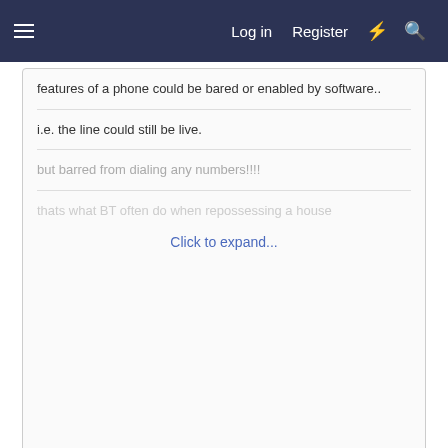Log in  Register
features of a phone could be bared or enabled by software..
i.e. the line could still be live.
but barred from dialing any numbers!!!!
thats what BT often do when...
Click to expand...
thanks for all your help guys, I think the site owners are just wanting all "actually not connected" cables removed.
I can prove this with a 50v (or lack of) test? yes?
there has been loads and loads of additions/replacement cables put in over time but the old cables have just been cut at various junction boxes etc and left in situ.
I will explain to them that I will only be removing the cables that are electrically dead.